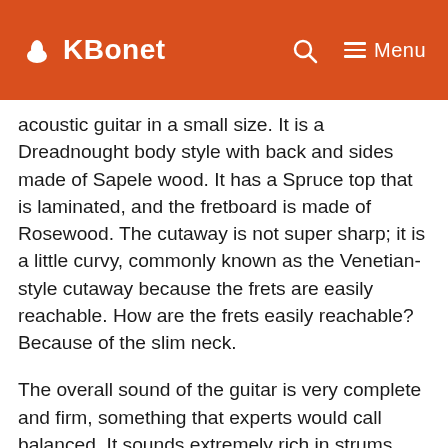KBonet  🔍  ≡ Menu
acoustic guitar in a small size. It is a Dreadnought body style with back and sides made of Sapele wood. It has a Spruce top that is laminated, and the fretboard is made of Rosewood. The cutaway is not super sharp; it is a little curvy, commonly known as the Venetian-style cutaway because the frets are easily reachable. How are the frets easily reachable? Because of the slim neck.
The overall sound of the guitar is very complete and firm, something that experts would call balanced. It sounds extremely rich in strums, which is an absolute necessity as far as acoustic